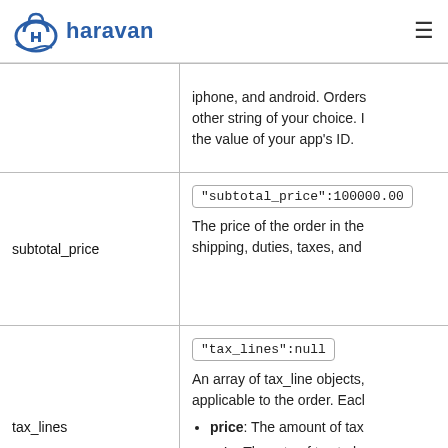haravan
| Field | Description |
| --- | --- |
|  | iphone, and android. Orders other string of your choice. the value of your app's ID. |
| subtotal_price | "subtotal_price":100000.00
The price of the order in the shipping, duties, taxes, and |
| tax_lines | "tax_lines":null
An array of tax_line objects, applicable to the order. Each
• price: The amount of tax
• rate: The rate of tax to be
• title: The name of the tax |